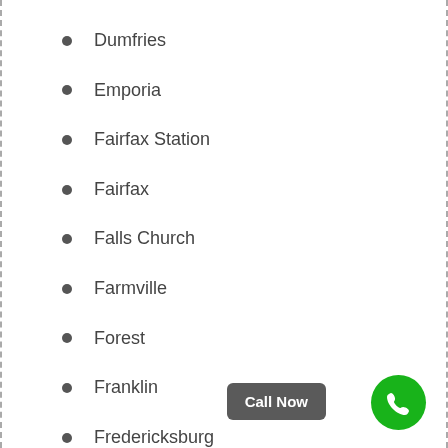Dumfries
Emporia
Fairfax Station
Fairfax
Falls Church
Farmville
Forest
Franklin
Fredericksburg
Front Royal